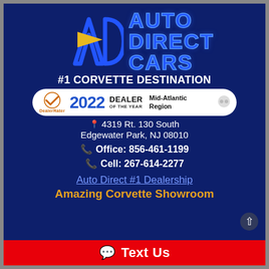[Figure (logo): Auto Direct Cars logo with blue AD monogram and gold arrow, plus AUTO DIRECT CARS text in blue]
#1 CORVETTE DESTINATION
[Figure (infographic): DealerRater 2022 Dealer of the Year Mid-Atlantic Region badge]
4319 Rt. 130 South
Edgewater Park, NJ 08010
Office: 856-461-1199
Cell: 267-614-2277
Auto Direct #1 Dealership
Amazing Corvette Showroom
Text Us